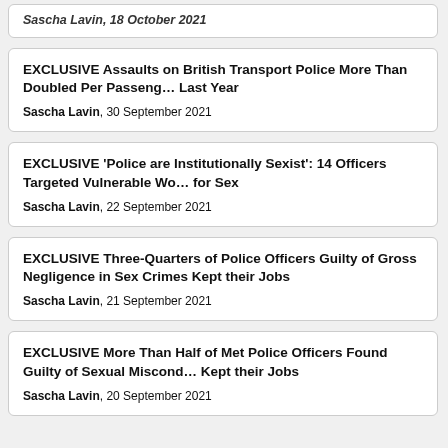Sascha Lavin, 18 October 2021
EXCLUSIVE Assaults on British Transport Police More Than Doubled Per Passenger Last Year
Sascha Lavin, 30 September 2021
EXCLUSIVE 'Police are Institutionally Sexist': 14 Officers Targeted Vulnerable Women for Sex
Sascha Lavin, 22 September 2021
EXCLUSIVE Three-Quarters of Police Officers Guilty of Gross Negligence in Sex Crimes Kept their Jobs
Sascha Lavin, 21 September 2021
EXCLUSIVE More Than Half of Met Police Officers Found Guilty of Sexual Misconduct Kept their Jobs
Sascha Lavin, 20 September 2021